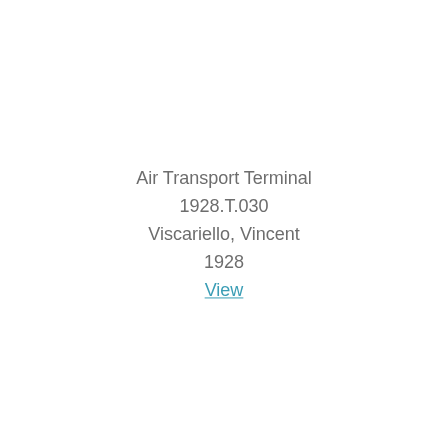Air Transport Terminal
1928.T.030
Viscariello, Vincent
1928
View